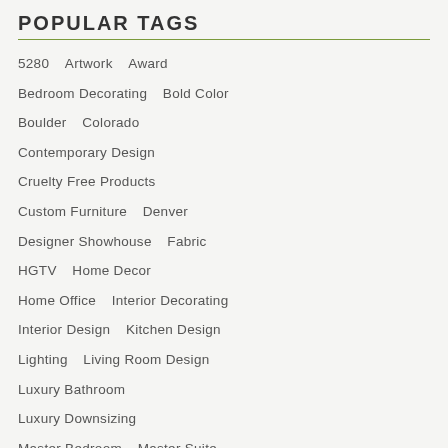POPULAR TAGS
5280
Artwork
Award
Bedroom Decorating
Bold Color
Boulder
Colorado
Contemporary Design
Cruelty Free Products
Custom Furniture
Denver
Designer Showhouse
Fabric
HGTV
Home Decor
Home Office
Interior Decorating
Interior Design
Kitchen Design
Lighting
Living Room Design
Luxury Bathroom
Luxury Downsizing
Master Bedroom
Master Suite
Modern Bedroom
Modern Design